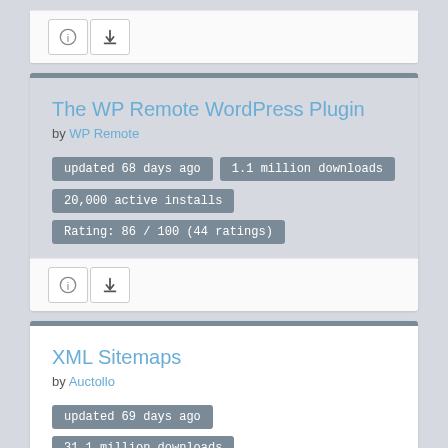[Figure (screenshot): Partial plugin card at top with info and download icon buttons]
The WP Remote WordPress Plugin
by WP Remote
updated 68 days ago
1.1 million downloads
20,000 active installs
Rating: 86 / 100 (44 ratings)
[Figure (screenshot): Info and download icon buttons for WP Remote plugin]
XML Sitemaps
by Auctollo
updated 69 days ago
31.1 million downloads